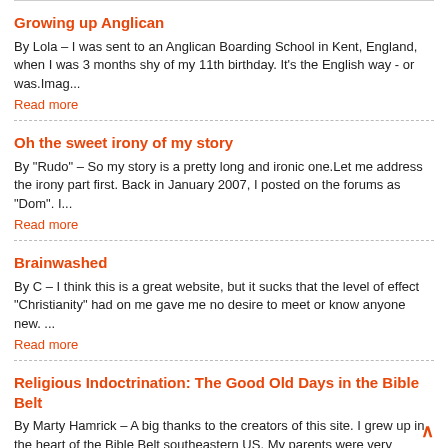Growing up Anglican
By Lola – I was sent to an Anglican Boarding School in Kent, England, when I was 3 months shy of my 11th birthday. It's the English way - or was.Imag...
Read more
Oh the sweet irony of my story
By "Rudo" – So my story is a pretty long and ironic one.Let me address the irony part first. Back in January 2007, I posted on the forums as "Dom". I...
Read more
Brainwashed
By C – I think this is a great website, but it sucks that the level of effect "Christianity" had on me gave me no desire to meet or know anyone new. ...
Read more
Religious Indoctrination: The Good Old Days in the Bible Belt
By Marty Hamrick – A big thanks to the creators of this site. I grew up in the heart of the Bible Belt southeastern US. My parents were very popular ... Read more
Belief Privac... What?...